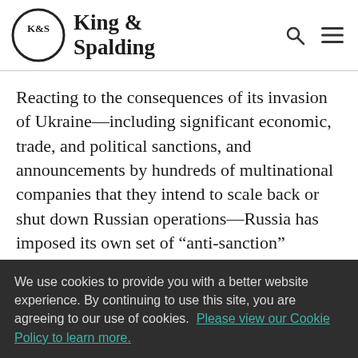King & Spalding
Reacting to the consequences of its invasion of Ukraine—including significant economic, trade, and political sanctions, and announcements by hundreds of multinational companies that they intend to scale back or shut down Russian operations—Russia has imposed its own set of “anti-sanction” retaliatory measures against so-called “unfriendly countries.”¹ These include measures that roll back the protections
We use cookies to provide you with a better website experience. By continuing to use this site, you are agreeing to our use of cookies.  Please view our Cookie Policy to learn more.